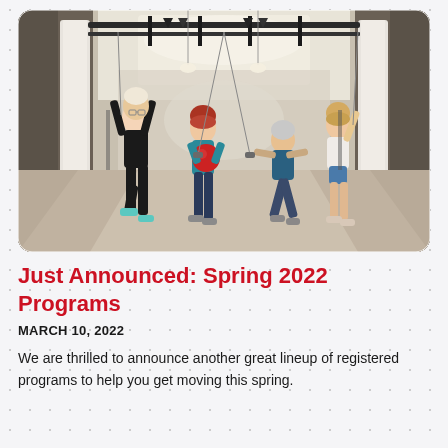[Figure (photo): People exercising in a gym with suspended fitness equipment rigs and white curtains on the sides. Four people are visible doing various exercises including holding a red medicine ball. The gym has a high ceiling with skylights and pendant lights.]
Just Announced: Spring 2022 Programs
MARCH 10, 2022
We are thrilled to announce another great lineup of registered programs to help you get moving this spring.